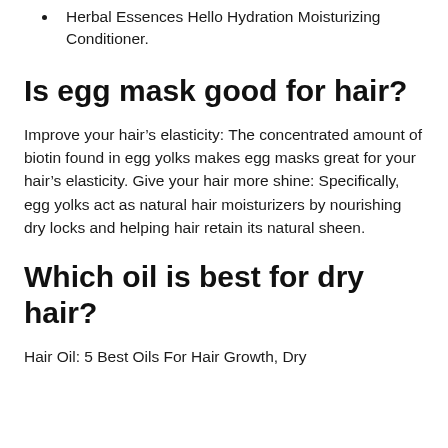Herbal Essences Hello Hydration Moisturizing Conditioner.
Is egg mask good for hair?
Improve your hair's elasticity: The concentrated amount of biotin found in egg yolks makes egg masks great for your hair's elasticity. Give your hair more shine: Specifically, egg yolks act as natural hair moisturizers by nourishing dry locks and helping hair retain its natural sheen.
Which oil is best for dry hair?
Hair Oil: 5 Best Oils For Hair Growth, Dry